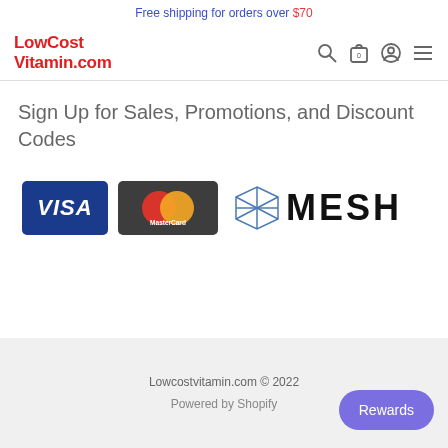Free shipping for orders over $70
LowCost Vitamin.com
Sign Up for Sales, Promotions, and Discount Codes
[Figure (logo): Visa logo badge (white text on blue), MasterCard logo badge (overlapping red and yellow circles on dark background), and MESH logo with diamond wireframe icon and bold text]
Lowcostvitamin.com © 2022
Powered by Shopify